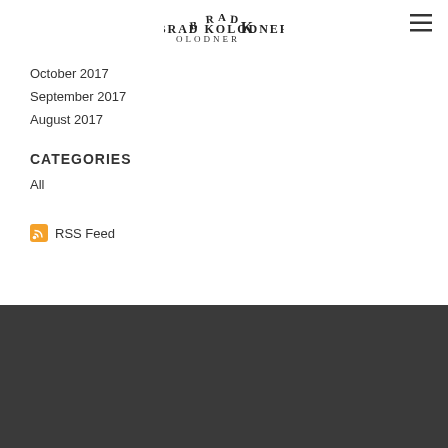[Figure (logo): Brad Kolodner stylized text logo in serif/decorative font]
October 2017
September 2017
August 2017
CATEGORIES
All
RSS Feed